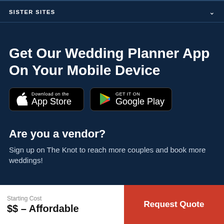SISTER SITES
Get Our Wedding Planner App On Your Mobile Device
[Figure (screenshot): Download on the App Store badge (black background, Apple logo, text: Download on the App Store)]
[Figure (screenshot): Get it on Google Play badge (black background, Google Play triangle logo, text: GET IT ON Google Play)]
Are you a vendor?
Sign up on The Knot to reach more couples and book more weddings!
Starting Cost
$$ – Affordable
Request Quote